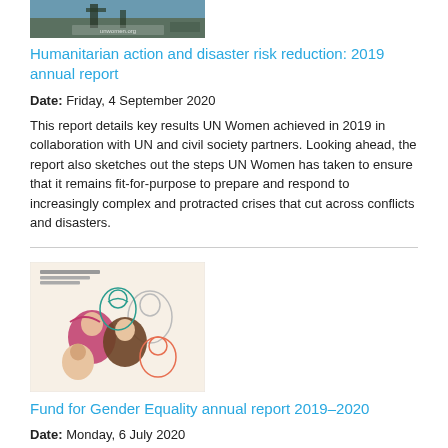[Figure (photo): Partial thumbnail of a humanitarian/disaster scene photo]
Humanitarian action and disaster risk reduction: 2019 annual report
Date: Friday, 4 September 2020
This report details key results UN Women achieved in 2019 in collaboration with UN and civil society partners. Looking ahead, the report also sketches out the steps UN Women has taken to ensure that it remains fit-for-purpose to prepare and respond to increasingly complex and protracted crises that cut across conflicts and disasters.
[Figure (illustration): Cover of Fund for Gender Equality annual report 2019-2020, showing illustrated faces of diverse women]
Fund for Gender Equality annual report 2019–2020
Date: Monday, 6 July 2020
Supported by photos, data, infographics, and individual impact stories, the report demonstrates the achievements of the 13...